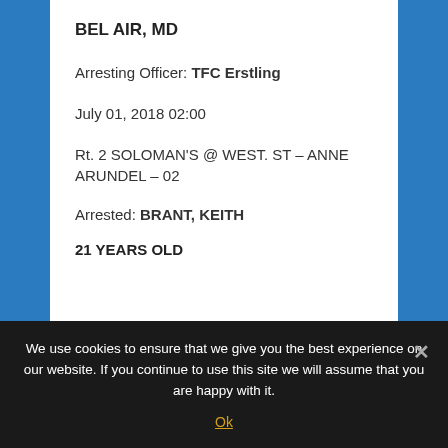BEL AIR, MD
Arresting Officer: TFC Erstling
July 01, 2018 02:00
Rt. 2 SOLOMAN'S @ WEST. ST – ANNE ARUNDEL – 02
Arrested: BRANT, KEITH
21 YEARS OLD
We use cookies to ensure that we give you the best experience on our website. If you continue to use this site we will assume that you are happy with it.
Ok